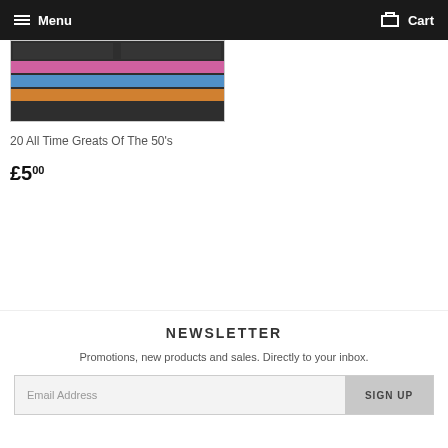Menu  Cart
[Figure (photo): Partial view of a vinyl record album cover with colorful stripes (pink, blue, orange) on a dark background]
20 All Time Greats Of The 50's
£5.00
NEWSLETTER
Promotions, new products and sales. Directly to your inbox.
Email Address  SIGN UP